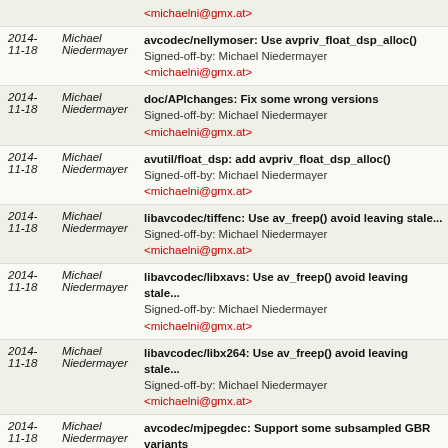| Date | Author | Message |
| --- | --- | --- |
|  |  | <michaelni@gmx.at> |
| 2014-
11-18 | Michael
Niedermayer | avcodec/nellymoser: Use avpriv_float_dsp_alloc()
Signed-off-by: Michael Niedermayer
<michaelni@gmx.at> |
| 2014-
11-18 | Michael
Niedermayer | doc/APIchanges: Fix some wrong versions
Signed-off-by: Michael Niedermayer
<michaelni@gmx.at> |
| 2014-
11-18 | Michael
Niedermayer | avutil/float_dsp: add avpriv_float_dsp_alloc()
Signed-off-by: Michael Niedermayer
<michaelni@gmx.at> |
| 2014-
11-18 | Michael
Niedermayer | libavcodec/tiffenc: Use av_freep() avoid leaving stale...
Signed-off-by: Michael Niedermayer
<michaelni@gmx.at> |
| 2014-
11-18 | Michael
Niedermayer | libavcodec/libxavs: Use av_freep() avoid leaving stale...
Signed-off-by: Michael Niedermayer
<michaelni@gmx.at> |
| 2014-
11-18 | Michael
Niedermayer | libavcodec/libx264: Use av_freep() avoid leaving stale...
Signed-off-by: Michael Niedermayer
<michaelni@gmx.at> |
| 2014-
11-18 | Michael
Niedermayer | avcodec/mjpegdec: Support some subsampled GBR variants
Signed-off-by: Michael Niedermayer
<michaelni@gmx.at> |
| 2014- | Michael | avformat/mp3dec: avoid seeking to negative |